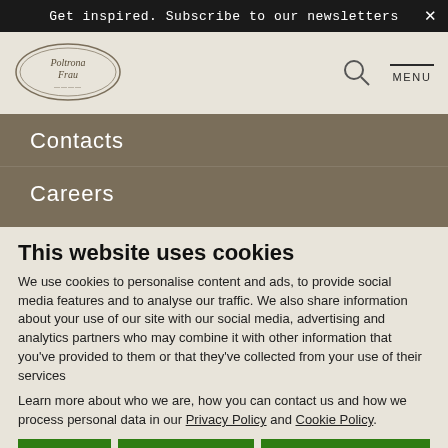Get inspired. Subscribe to our newsletters
[Figure (logo): Poltrona Frau oval logo with decorative border]
Contacts
Careers
This website uses cookies
We use cookies to personalise content and ads, to provide social media features and to analyse our traffic. We also share information about your use of our site with our social media, advertising and analytics partners who may combine it with other information that you've provided to them or that they've collected from your use of their services
Learn more about who we are, how you can contact us and how we process personal data in our Privacy Policy and Cookie Policy.
Close | Allow selection | Allow all cookies
Necessary  Preferences  Statistics  Marketing  Show details